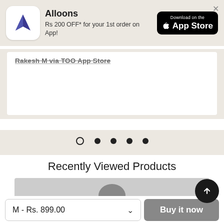[Figure (screenshot): Alloons app banner with logo, promotional text 'Rs 200 OFF* for your 1st order on App!' and Download on the App Store button]
Rakesh M via TOO App Store
[Figure (infographic): Carousel dots indicator: one open circle followed by four filled circles]
Recently Viewed Products
[Figure (photo): Partial product image on grey background]
M - Rs. 899.00
Buy it now